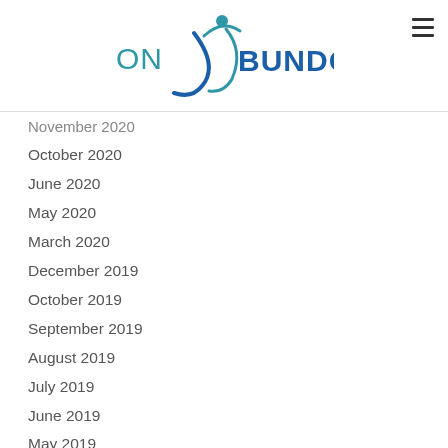[Figure (logo): OnBundock logo with a stylized figure and curved line in teal/blue, company name 'ONBUNDOCK' in blue text]
November 2020
October 2020
June 2020
May 2020
March 2020
December 2019
October 2019
September 2019
August 2019
July 2019
June 2019
May 2019
April 2019
February 2019